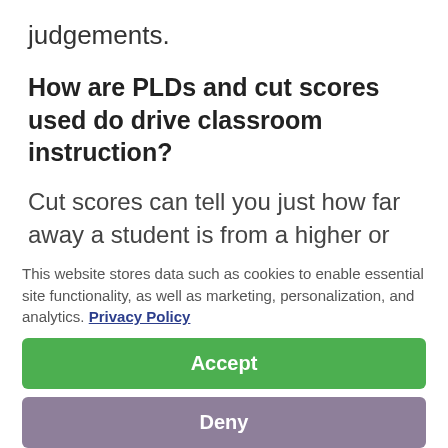judgements.
How are PLDs and cut scores used do drive classroom instruction?
Cut scores can tell you just how far away a student is from a higher or lower performance level. For example, if a student is classified as proficient on a midyear benchmark test but scores very close to the cut
This website stores data such as cookies to enable essential site functionality, as well as marketing, personalization, and analytics. Privacy Policy
Accept
Deny